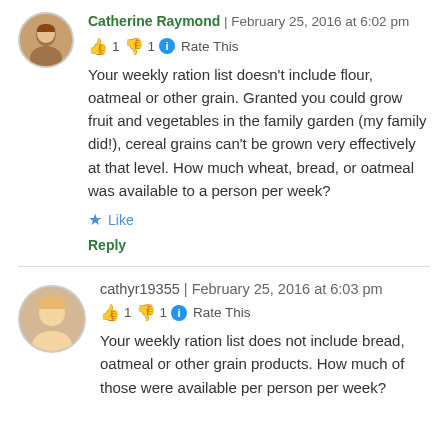Catherine Raymond | February 25, 2016 at 6:02 pm
👍 1 👎 1 ℹ Rate This
Your weekly ration list doesn't include flour, oatmeal or other grain. Granted you could grow fruit and vegetables in the family garden (my family did!), cereal grains can't be grown very effectively at that level. How much wheat, bread, or oatmeal was available to a person per week?
★ Like
Reply
cathyr19355 | February 25, 2016 at 6:03 pm
👍 1 👎 1 ℹ Rate This
Your weekly ration list does not include bread, oatmeal or other grain products. How much of those were available per person per week?